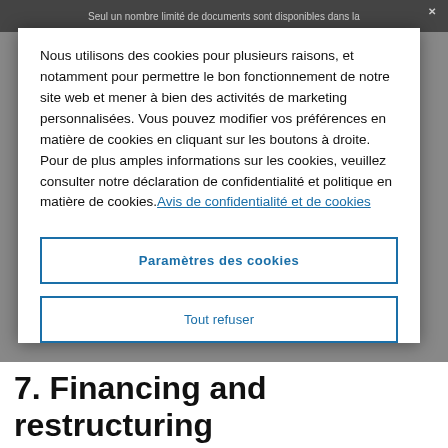Seul un nombre limité de documents sont disponibles dans la
Nous utilisons des cookies pour plusieurs raisons, et notamment pour permettre le bon fonctionnement de notre site web et mener à bien des activités de marketing personnalisées. Vous pouvez modifier vos préférences en matière de cookies en cliquant sur les boutons à droite. Pour de plus amples informations sur les cookies, veuillez consulter notre déclaration de confidentialité et politique en matière de cookies.Avis de confidentialité et de cookies
Paramètres des cookies
Tout refuser
7. Financing and restructuring